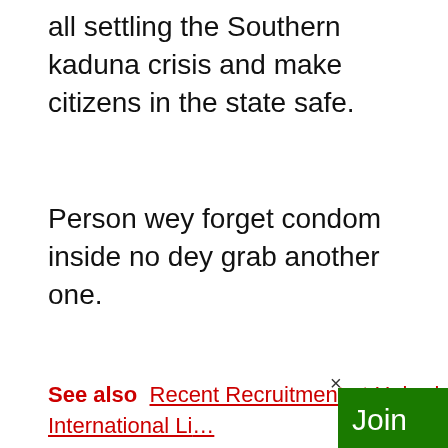all settling the Southern kaduna crisis and make citizens in the state safe.
Person wey forget condom inside no dey grab another one.
See also  Recent Recruitment at Hobark International Limited (HIL)
[Figure (other): Green popup overlay with close X button and text: Join our Whatsapp Group]
Ayomide Dani scheme he will use to scam ignoramus ones for 2023 election, buhari said the same thing in 2005 before he ranted change and